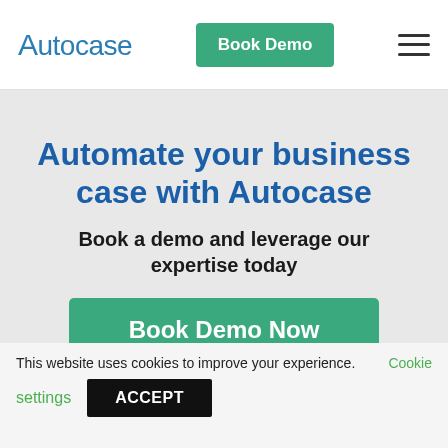Autocase — Book Demo
Automate your business case with Autocase
Book a demo and leverage our expertise today
Book Demo Now
This website uses cookies to improve your experience. Cookie settings ACCEPT